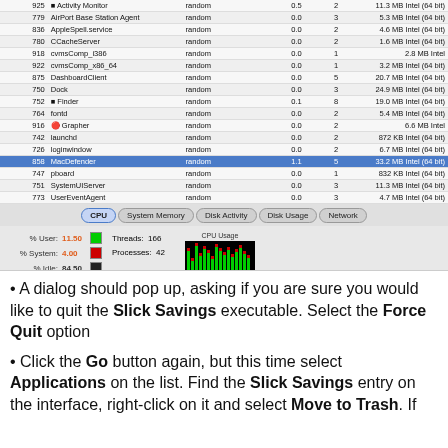[Figure (screenshot): Activity Monitor application window showing a list of processes including MacDefender highlighted in blue, CPU/System Memory/Disk Activity/Disk Usage/Network tabs, and CPU stats showing % User: 11.50, % System: 4.00, % Idle: 84.50, Threads: 166, Processes: 42, with a CPU usage graph.]
A dialog should pop up, asking if you are sure you would like to quit the Slick Savings executable. Select the Force Quit option
Click the Go button again, but this time select Applications on the list. Find the Slick Savings entry on the interface, right-click on it and select Move to Trash. If